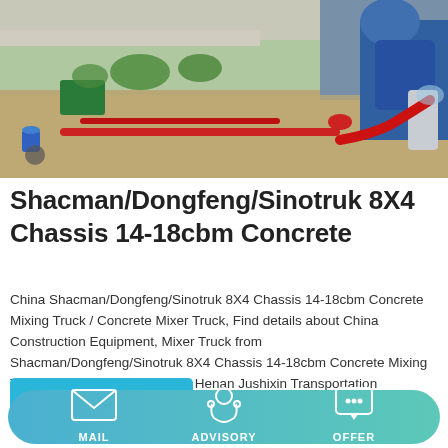[Figure (photo): Construction site with red concrete pump pipes on gravel, with a blue concrete mixer machine on the right side and a wall/fence in the background.]
Shacman/Dongfeng/Sinotruk 8X4 Chassis 14-18cbm Concrete
China Shacman/Dongfeng/Sinotruk 8X4 Chassis 14-18cbm Concrete Mixing Truck / Concrete Mixer Truck, Find details about China Construction Equipment, Mixer Truck from Shacman/Dongfeng/Sinotruk 8X4 Chassis 14-18cbm Concrete Mixing Truck / Concrete Mixer Truck - Henan Jushixin Transportation Equipment Co., Ltd.
Learn More
MAIL   ADVISORY   OFFER